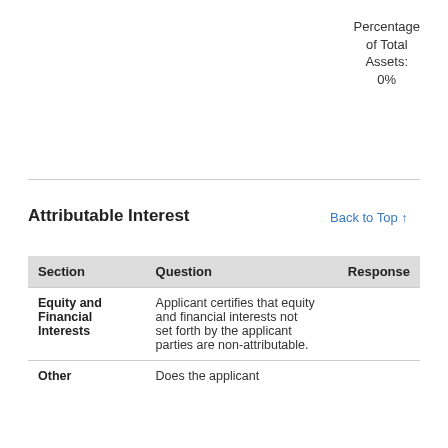Percentage of Total Assets:
0%
Attributable Interest
Back to Top ↑
| Section | Question | Response |
| --- | --- | --- |
| Equity and Financial Interests | Applicant certifies that equity and financial interests not set forth by the applicant parties are non-attributable. |  |
| Other | Does the applicant |  |